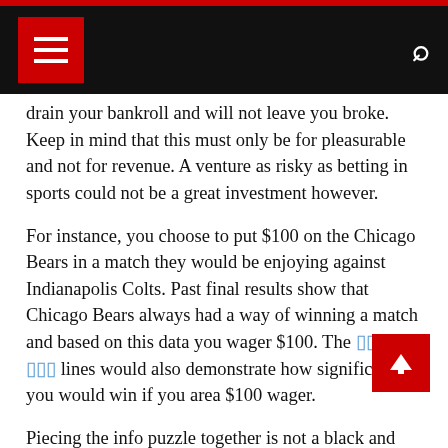[Navigation bar with menu and search]
drain your bankroll and will not leave you broke. Keep in mind that this must only be for pleasurable and not for revenue. A venture as risky as betting in sports could not be a great investment however.
For instance, you choose to put $100 on the Chicago Bears in a match they would be enjoying against Indianapolis Colts. Past final results show that Chicago Bears always had a way of winning a match and based on this data you wager $100. The ????????? ??? lines would also demonstrate how significantly you would win if you area $100 wager.
Piecing the info puzzle together is not a black and white quantitative game. It is a gray and qualitative game. But with the correct detached and logical temperament, a